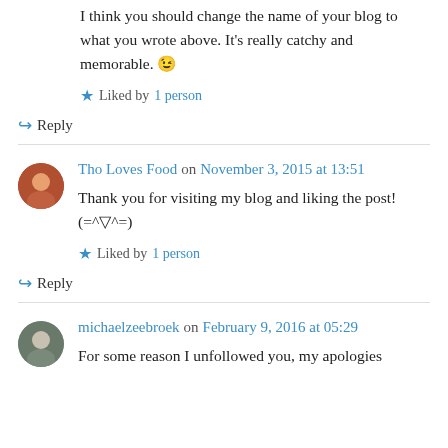I think you should change the name of your blog to what you wrote above. It's really catchy and memorable. 😉
★ Liked by 1 person
↳ Reply
Tho Loves Food on November 3, 2015 at 13:51
Thank you for visiting my blog and liking the post! (=^▽^=)
★ Liked by 1 person
↳ Reply
michaelzeebroek on February 9, 2016 at 05:29
For some reason I unfollowed you, my apologies